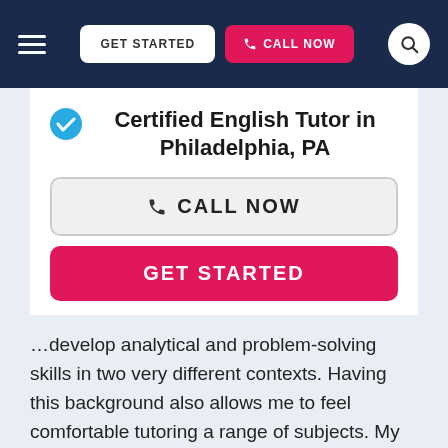GET STARTED | CALL NOW
Certified English Tutor in Philadelphia, PA
CALL NOW
GET STARTED
…develop analytical and problem-solving skills in two very different contexts. Having this background also allows me to feel comfortable tutoring a range of subjects. My tutoring style can best be described as collaborative. Much of the time the problems we will tackle together will be